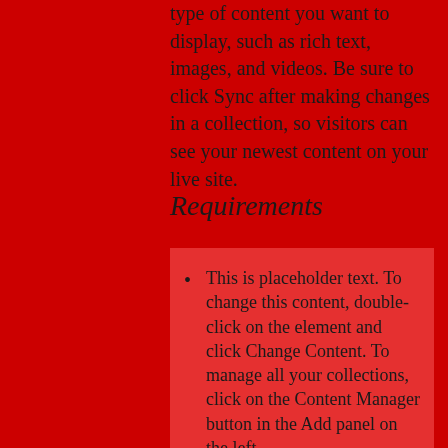type of content you want to display, such as rich text, images, and videos. Be sure to click Sync after making changes in a collection, so visitors can see your newest content on your live site.
Requirements
This is placeholder text. To change this content, double-click on the element and click Change Content. To manage all your collections, click on the Content Manager button in the Add panel on the left.
This is placeholder text. To change this content, double-click on the element and click Change Content. To manage all your collections, click on the Content Manager button in the Add panel on the left.